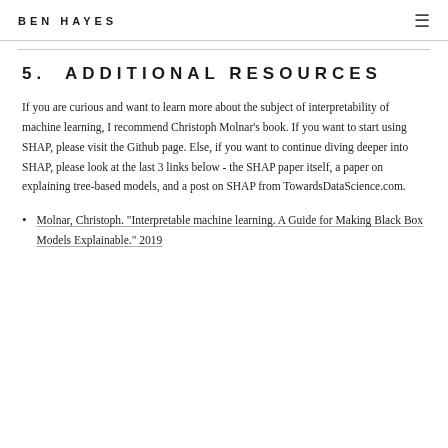BEN HAYES
5. ADDITIONAL RESOURCES
If you are curious and want to learn more about the subject of interpretability of machine learning, I recommend Christoph Molnar's book. If you want to start using SHAP, please visit the Github page. Else, if you want to continue diving deeper into SHAP, please look at the last 3 links below - the SHAP paper itself, a paper on explaining tree-based models, and a post on SHAP from TowardsDataScience.com.
Molnar, Christoph. "Interpretable machine learning. A Guide for Making Black Box Models Explainable." 2019